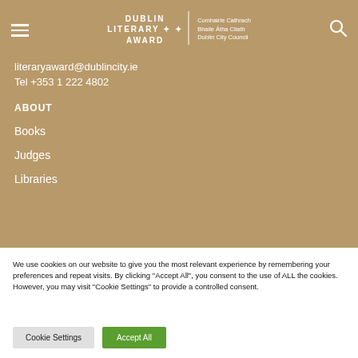Dublin Literary Award | Comhairle Cathrach Bhaile Átha Cliath Dublin City Council
literaryaward@dublincity.ie
Tel +353 1 222 4802
ABOUT
Books
Judges
Libraries
We use cookies on our website to give you the most relevant experience by remembering your preferences and repeat visits. By clicking "Accept All", you consent to the use of ALL the cookies. However, you may visit "Cookie Settings" to provide a controlled consent.
Cookie Settings | Accept All